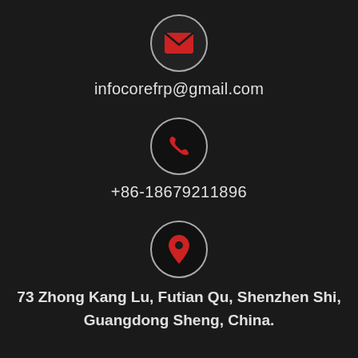[Figure (illustration): Red envelope icon inside a circle with grey border on dark background]
infocorefrp@gmail.com
[Figure (illustration): Red phone handset icon inside a dark circle with grey border]
+86-18679211896
[Figure (illustration): Red map pin / location icon inside a dark circle with grey border]
73 Zhong Kang Lu, Futian Qu, Shenzhen Shi, Guangdong Sheng, China.